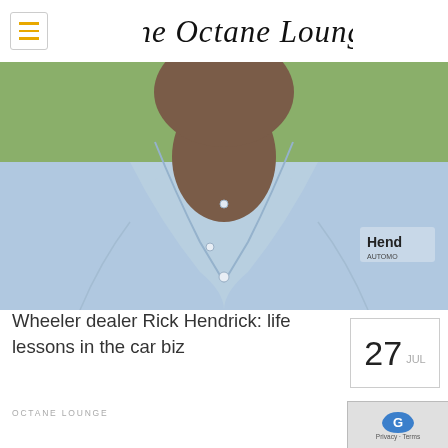The Octane Lounge
[Figure (photo): Close-up photo of a man in a light blue button-down shirt with a 'Hend' (Hendrick) logo on the chest, head partially visible at top]
27 JUL
Wheeler dealer Rick Hendrick: life lessons in the car biz
OCTANE LOUNGE